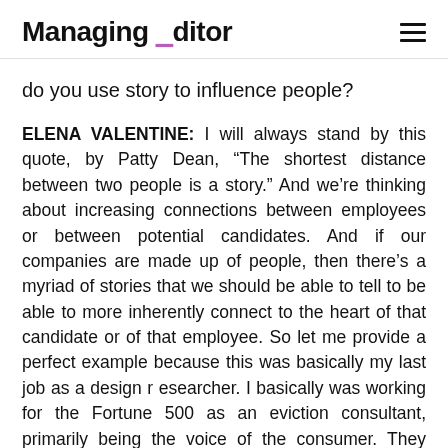Managing Editor
do you use story to influence people?
ELENA VALENTINE: I will always stand by this quote, by Patty Dean, “The shortest distance between two people is a story.” And we’re thinking about increasing connections between employees or between potential candidates. And if our companies are made up of people, then there’s a myriad of stories that we should be able to tell to be able to more inherently connect to the heart of that candidate or of that employee. So let me provide a perfect example because this was basically my last job as a design r esearcher. I basically was working for the Fortune 500 as an eviction consultant, primarily being the voice of the consumer. They would come to us with hundreds of research